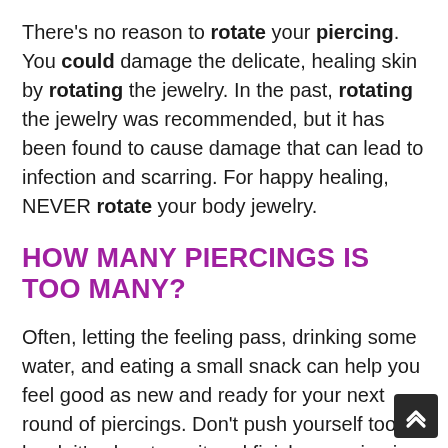There's no reason to rotate your piercing. You could damage the delicate, healing skin by rotating the jewelry. In the past, rotating the jewelry was recommended, but it has been found to cause damage that can lead to infection and scarring. For happy healing, NEVER rotate your body jewelry.
HOW MANY PIERCINGS IS TOO MANY?
Often, letting the feeling pass, drinking some water, and eating a small snack can help you feel good as new and ready for your next round of piercings. Don't push yourself too hard; it's okay to wait and finish your piercing another day, too. Most reputable piercers won't do